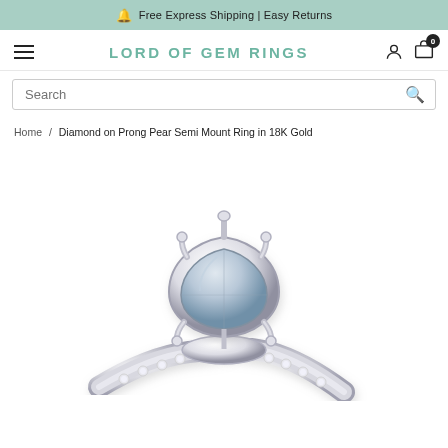Free Express Shipping | Easy Returns
LORD OF GEM RINGS
Search
Home / Diamond on Prong Pear Semi Mount Ring in 18K Gold
[Figure (photo): Close-up photo of a diamond pear semi mount ring in 18K white gold, showing a pear-shaped prong setting with diamond-accented band, on a white background.]